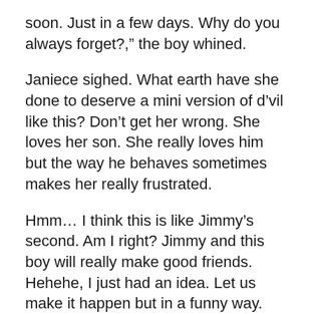soon. Just in a few days. Why do you always forget?," the boy whined.
Janiece sighed. What earth have she done to deserve a mini version of d’vil like this? Don’t get her wrong. She loves her son. She really loves him but the way he behaves sometimes makes her really frustrated.
Hmm… I think this is like Jimmy’s second. Am I right? Jimmy and this boy will really make good friends. Hehehe, I just had an idea. Let us make it happen but in a funny way.
Janiece led him to his class and then waved